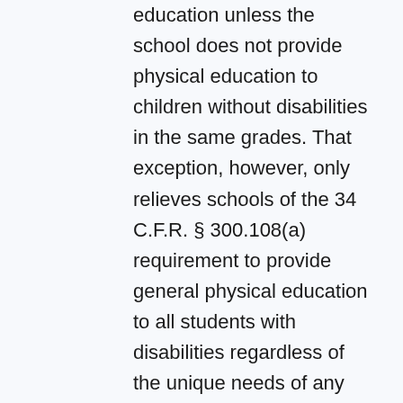education unless the school does not provide physical education to children without disabilities in the same grades. That exception, however, only relieves schools of the 34 C.F.R. § 300.108(a) requirement to provide general physical education to all students with disabilities regardless of the unique needs of any given student and regardless of any student's IEP. Section 300.108(a) does not relieve schools of the duty to provide physical education to those students who have unique needs requiring physical education and have IEPs setting out physical education as part of that student's special education and related services.